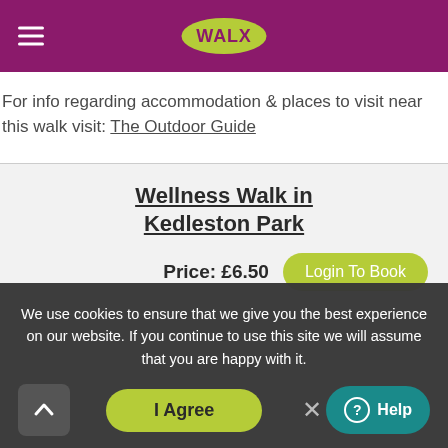WALX
For info regarding accommodation & places to visit near this walk visit: The Outdoor Guide
Wellness Walk in Kedleston Park
Price: £6.50
Login To Book
We use cookies to ensure that we give you the best experience on our website. If you continue to use this site we will assume that you are happy with it.
I Agree
Help